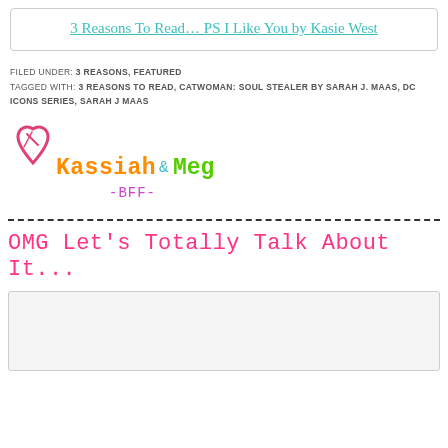3 Reasons To Read… PS I Like You by Kasie West
FILED UNDER: 3 REASONS, FEATURED
TAGGED WITH: 3 REASONS TO READ, CATWOMAN: SOUL STEALER BY SARAH J. MAAS, DC ICONS SERIES, SARAH J MAAS
[Figure (logo): Kassiah & Meg BFF logo with heart icon in pink/orange handwritten style]
OMG Let's Totally Talk About It...
[Figure (other): Comment/content box, light gray background]